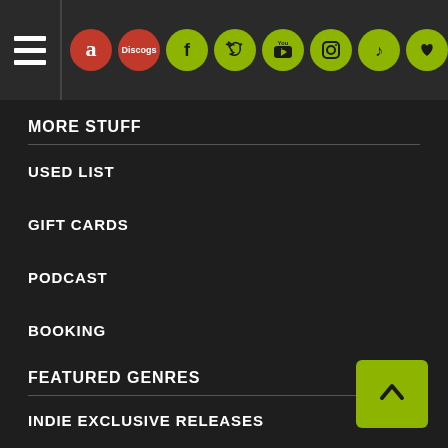Navigation header with hamburger menu and social media icons: Amazon, Discogs, Facebook, Twitter, YouTube, Instagram, TikTok, Wishlist, Email
MORE STUFF
USED LIST
GIFT CARDS
PODCAST
BOOKING
FEATURED GENRES
INDIE EXCLUSIVE RELEASES
PREORDER UPCOMING RELEASES
VINYL CARE